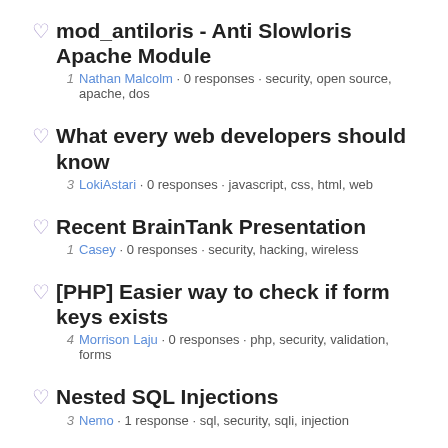mod_antiloris - Anti Slowloris Apache Module
Nathan Malcolm · 0 responses · security, open source, apache, dos
What every web developers should know
LokiAstari · 0 responses · javascript, css, html, web
Recent BrainTank Presentation
Casey · 0 responses · security, hacking, wireless
[PHP] Easier way to check if form keys exists
Morrison Laju · 0 responses · php, security, validation, forms
Nested SQL Injections
Nemo · 1 response · sql, security, sqli, injection